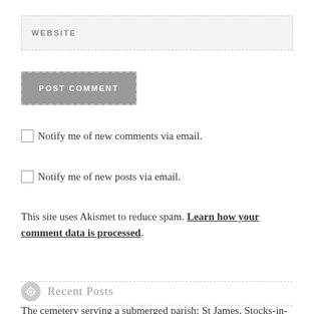WEBSITE
[Figure (other): POST COMMENT button with dashed border outline on gray background]
Notify me of new comments via email.
Notify me of new posts via email.
This site uses Akismet to reduce spam. Learn how your comment data is processed.
Recent Posts
The cemetery serving a submerged parish: St James, Stocks-in-